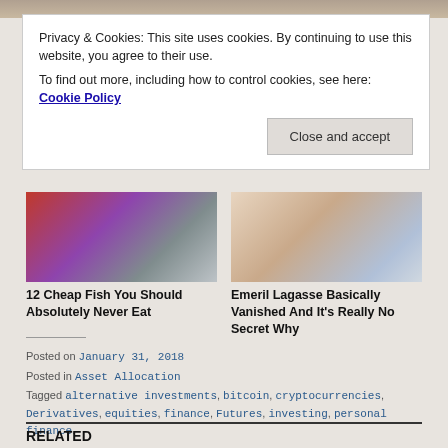[Figure (photo): Top strip of photos partially visible at top of page]
Privacy & Cookies: This site uses cookies. By continuing to use this website, you agree to their use.
To find out more, including how to control cookies, see here: Cookie Policy
Close and accept
[Figure (photo): Thumbnail of fish close-up]
[Figure (photo): Thumbnail of Emeril Lagasse]
12 Cheap Fish You Should Absolutely Never Eat
Emeril Lagasse Basically Vanished And It's Really No Secret Why
Posted on January 31, 2018
Posted in Asset Allocation
Tagged alternative investments, bitcoin, cryptocurrencies, Derivatives, equities, finance, Futures, investing, personal finance.
RELATED